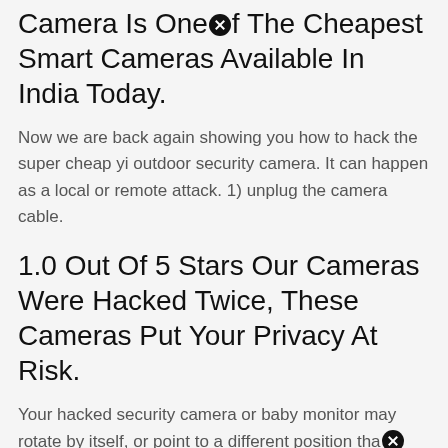Camera Is Oneⓧf The Cheapest Smart Cameras Available In India Today.
Now we are back again showing you how to hack the super cheap yi outdoor security camera. It can happen as a local or remote attack. 1) unplug the camera cable.
1.0 Out Of 5 Stars Our Cameras Were Hacked Twice, These Cameras Put Your Privacy At Risk.
Your hacked security camera or baby monitor may rotate by itself, or point to a different position thaⓧ usual. This is a more